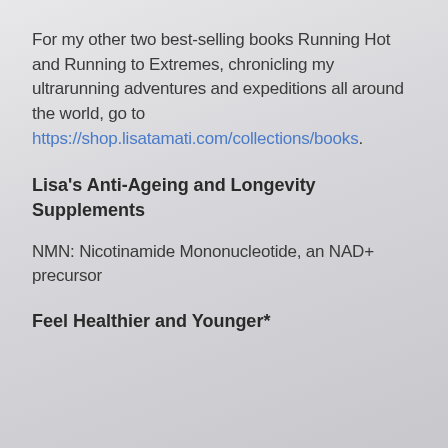For my other two best-selling books Running Hot and Running to Extremes, chronicling my ultrarunning adventures and expeditions all around the world, go to https://shop.lisatamati.com/collections/books.
Lisa's Anti-Ageing and Longevity Supplements
NMN: Nicotinamide Mononucleotide, an NAD+ precursor
Feel Healthier and Younger*